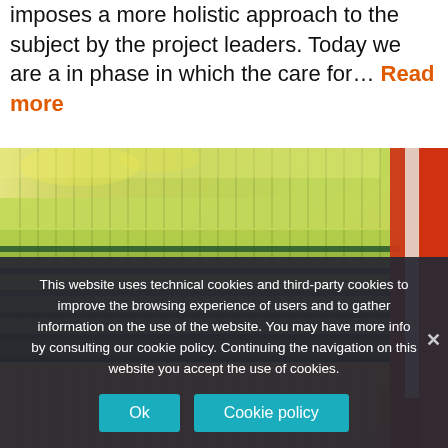imposes a more holistic approach to the subject by the project leaders. Today we are a in phase in which the care for… Read more
[Figure (photo): Stack of multicolored polycarbonate corrugated or twin-wall sheets in green, yellow-green, orange, and red tones, showing the cross-section of the sheets stacked at an angle.]
This website uses technical cookies and third-party cookies to improve the browsing experience of users and to gather information on the use of the website. You may have more info by consulting our cookie policy. Continuing the navigation on this website you accept the use of cookies.